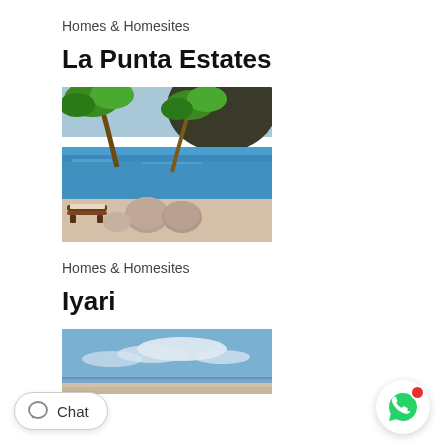Homes & Homesites
La Punta Estates
[Figure (photo): Tropical pool area with bonsai-style trees, blue water, lounge chairs, and large decorative stones in a luxury estate setting]
Homes & Homesites
Iyari
[Figure (photo): Partial view of an outdoor pool area with blue sky and clouds, luxury property]
Chat